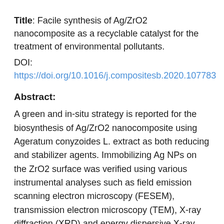Title: Facile synthesis of Ag/ZrO2 nanocomposite as a recyclable catalyst for the treatment of environmental pollutants.
DOI: https://doi.org/10.1016/j.compositesb.2020.107783
Abstract:
A green and in-situ strategy is reported for the biosynthesis of Ag/ZrO2 nanocomposite using Ageratum conyzoides L. extract as both reducing and stabilizer agents. Immobilizing Ag NPs on the ZrO2 surface was verified using various instrumental analyses such as field emission scanning electron microscopy (FESEM), transmission electron microscopy (TEM), X-ray diffraction (XRD) and energy dispersive X-ray spectroscopy (EDS). The catalytic